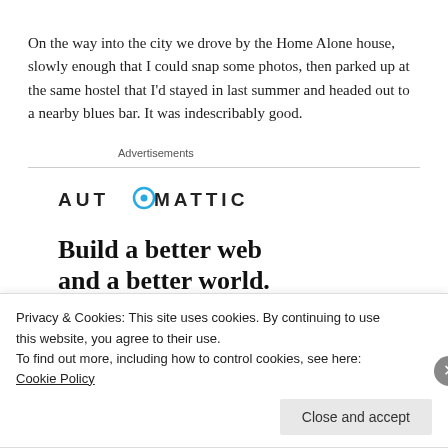On the way into the city we drove by the Home Alone house, slowly enough that I could snap some photos, then parked up at the same hostel that I'd stayed in last summer and headed out to a nearby blues bar. It was indescribably good.
Advertisements
[Figure (logo): Automattic logo with stylized 'O' in blue/teal circle]
Build a better web and a better world.
[Figure (other): Apply button (blue) and a circular portrait photo of a person]
Privacy & Cookies: This site uses cookies. By continuing to use this website, you agree to their use.
To find out more, including how to control cookies, see here: Cookie Policy
Close and accept